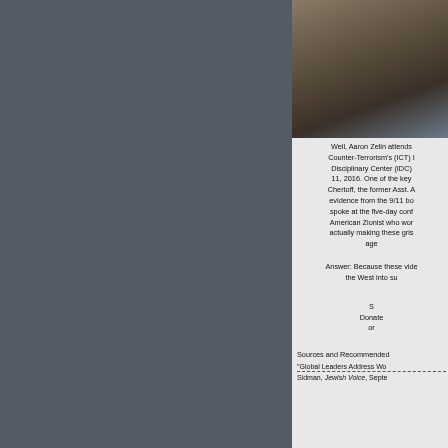[Figure (photo): Photograph of a person, partially visible, at what appears to be an indoor setting with windows in background]
Well, Aaron Zelin attends Counter-Terrorism's (ICT) I Disciplinary Center (IDC) 11, 2016. One of the key Chertoff, the former Asst. A evidence from the 9/11 bo spoke at the five-day conf American Zionist who wor actually making these gris age
Answer: Because these vide the West into su
S Donate or
Sources and Recommended
"Global Leaders Address Wo Sidman, Jewish Voice, Septe